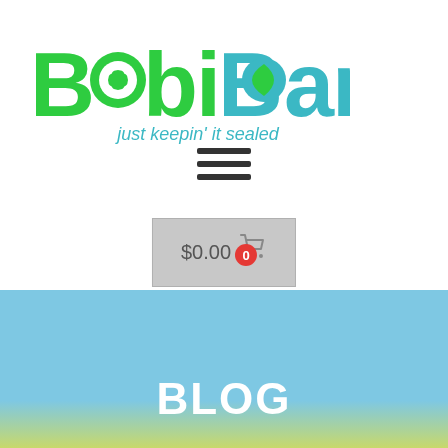[Figure (logo): BobiBands logo with tagline 'just keepin' it sealed'. Green and teal lettering with a button/flower icon replacing the 'o' in Bobi.]
[Figure (infographic): Hamburger menu icon with three horizontal dark lines.]
[Figure (screenshot): Shopping cart button showing '$0.00' with a cart icon and red badge showing '0'.]
BLOG